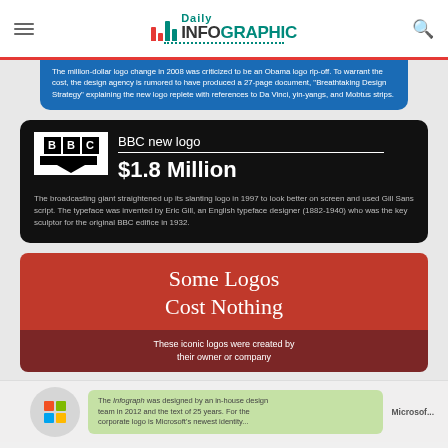Daily Infographic
The million-dollar logo change in 2008 was criticized to be an Obama logo rip-off. To warrant the cost, the design agency is rumored to have produced a 27-page document, "Breathtaking Design Strategy" explaining the new logo replete with references to Da Vinci, yin-yangs, and Mobtus strips.
[Figure (infographic): BBC new logo infographic showing BBC logo in white box with black flag ribbon, title 'BBC new logo' and price '$1.8 Million' on black background, with description text about the broadcasting giant straightening its slanting logo in 1997.]
The broadcasting giant straightened up its slanting logo in 1997 to look better on screen and used Gill Sans script. The typeface was invented by Eric Gill, an English typeface designer (1882-1940) who was the key sculptor for the original BBC edifice in 1932.
[Figure (infographic): Section header: 'Some Logos Cost Nothing' on red background with subtitle 'These iconic logos were created by their owner or company' on dark red background.]
[Figure (infographic): Partial bottom section showing Microsoft logo (colorful grid) in grey circle and green text box with partial text about Microsoft logo.]